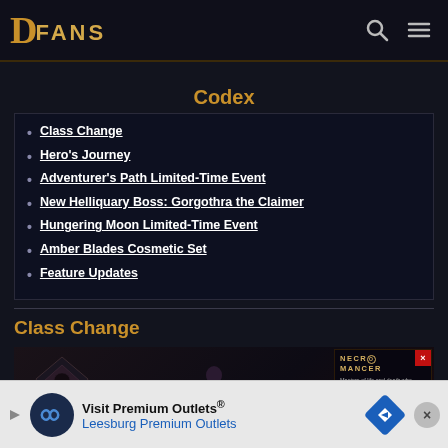DFANS
Codex
Class Change
Hero's Journey
Adventurer's Path Limited-Time Event
New Helliquary Boss: Gorgothra the Claimer
Hungering Moon Limited-Time Event
Amber Blades Cosmetic Set
Feature Updates
Class Change
[Figure (screenshot): Game screenshot showing Necromancer class selection screen with character silhouette and NECROMANCER card overlay reading: Masters of life and death who harvest the power of the dead, tormenting their...]
Visit Premium Outlets® Leesburg Premium Outlets